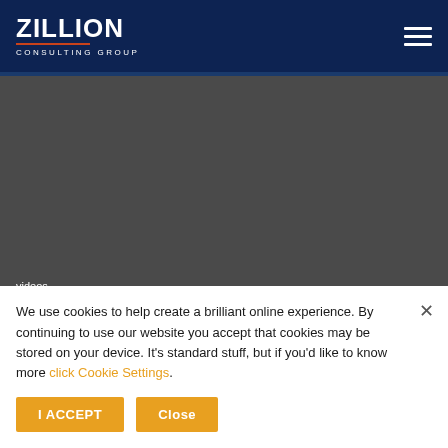[Figure (logo): Zillion Consulting Group logo — white bold ZILLION text with orange underline accent, CONSULTING GROUP in small white caps below]
[Figure (screenshot): Dark gray video player area, empty/loading video thumbnail]
videos
The power of introverts by Susan Cain
We use cookies to help create a brilliant online experience. By continuing to use our website you accept that cookies may be stored on your device. It's standard stuff, but if you'd like to know more click Cookie Settings.
Sam